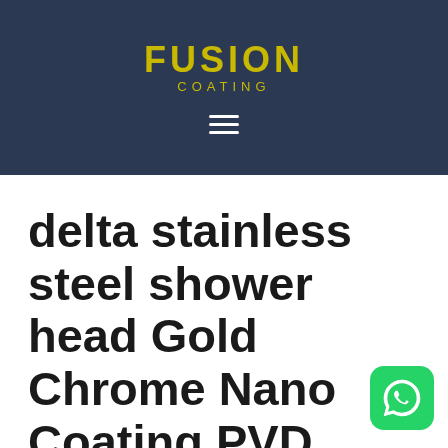FUSION COATING
[Figure (logo): Fusion Coating logo with hamburger menu icon on dark navy background]
delta stainless steel shower head Gold Chrome Nano Coating PVD Plasma Furniture Cutlery Hardware Surgical Coating